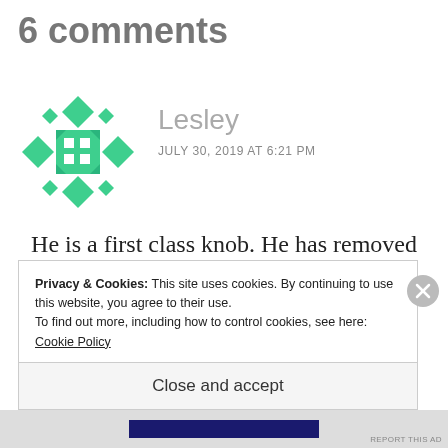6 comments
Lesley
JULY 30, 2019 AT 6:21 PM
He is a first class knob. He has removed those items when your mother was incapable of giving her consent. They were
Privacy & Cookies: This site uses cookies. By continuing to use this website, you agree to their use.
To find out more, including how to control cookies, see here: Cookie Policy
Close and accept